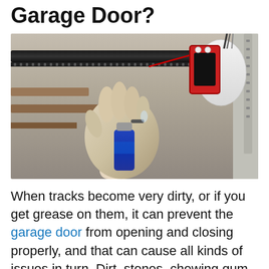Garage Door?
[Figure (photo): A gloved hand holding a blue spray can, lubricating a garage door opener rail mechanism mounted on the ceiling. The garage door motor unit is visible in the background with red and black casing.]
When tracks become very dirty, or if you get grease on them, it can prevent the garage door from opening and closing properly, and that can cause all kinds of issues in turn. Dirt, stones, chewing gum,